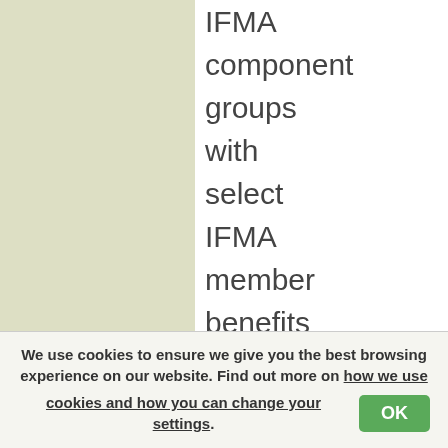IFMA component groups with select IFMA member benefits directed at individual skill development. Members of IFMA Alliance organizations become "custom" members of
We use cookies to ensure we give you the best browsing experience on our website. Find out more on how we use cookies and how you can change your settings.